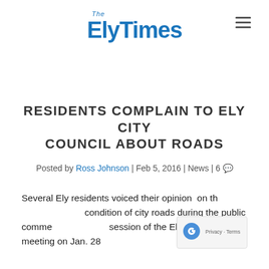The ElyTimes
RESIDENTS COMPLAIN TO ELY CITY COUNCIL ABOUT ROADS
Posted by Ross Johnson | Feb 5, 2016 | News | 6
Several Ely residents voiced their opinion on the condition of city roads during the public comment session of the Ely City Council meeting on Jan. 28